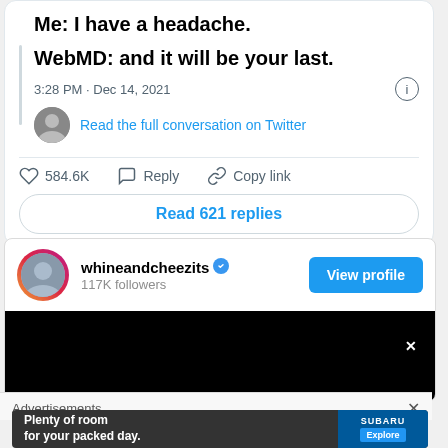Me: I have a headache.
WebMD: and it will be your last.
3:28 PM · Dec 14, 2021
Read the full conversation on Twitter
584.6K  Reply  Copy link
Read 621 replies
whineandcheezits  117K followers
View profile
Advertisements
Plenty of room for your packed day.